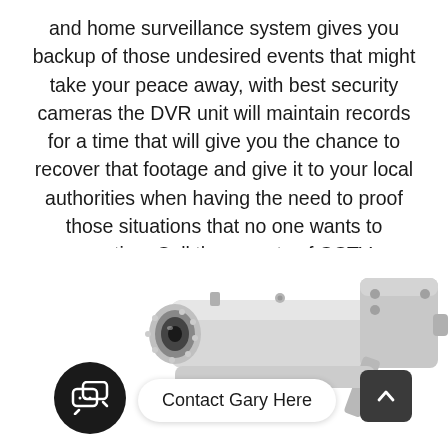and home surveillance system gives you backup of those undesired events that might take your peace away, with best security cameras the DVR unit will maintain records for a time that will give you the chance to recover that footage and give it to your local authorities when having the need to proof those situations that no one wants to mention. Call the experts of CCTV Installation Video Security to give you an estimate of a Home Security System for your property.
[Figure (photo): A white bullet-style CCTV security camera mounted on a wall bracket, shown from a slightly elevated angle against a white background.]
Contact Gary Here